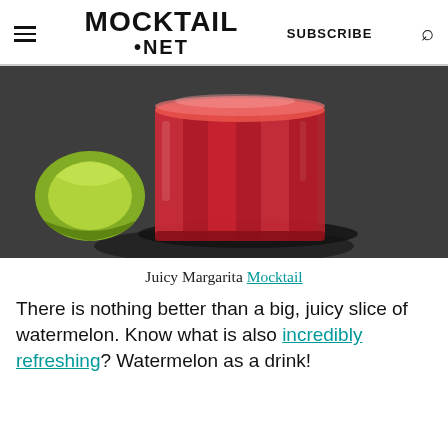MOCKTAIL .NET   SUBSCRIBE
[Figure (photo): A dark red/pink mocktail in a faceted glass on a dark slate surface, with a lime wedge to the left, photographed from above at an angle.]
Juicy Margarita Mocktail
There is nothing better than a big, juicy slice of watermelon. Know what is also incredibly refreshing? Watermelon as a drink!